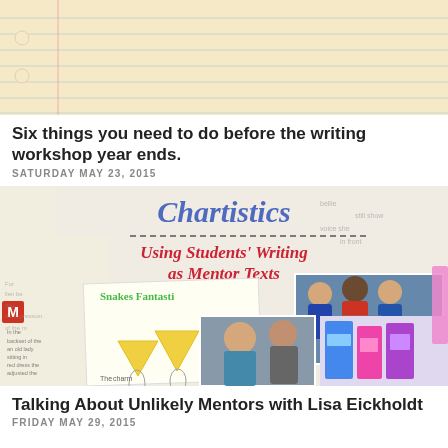[Figure (photo): Lined notebook paper background in cream/tan color with horizontal blue lines]
Six things you need to do before the writing workshop year ends.
SATURDAY MAY 23, 2015
[Figure (photo): Book cover collage: 'Chartistics - Using Students' Writing as Mentor Texts' with student artwork including snake drawings, photos of children collaborating, and colorful illustrations]
Talking About Unlikely Mentors with Lisa Eickholdt
FRIDAY MAY 29, 2015